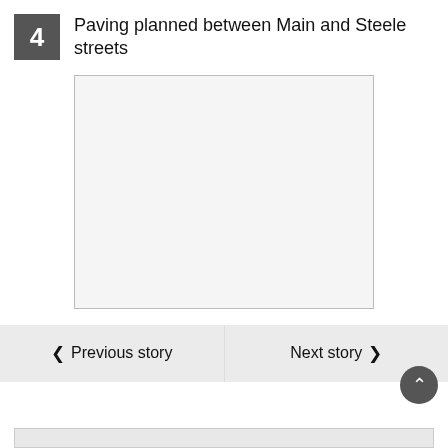4 Paving planned between Main and Steele streets
[Figure (photo): Blank/placeholder image area with light gray background and border]
Previous story
Next story